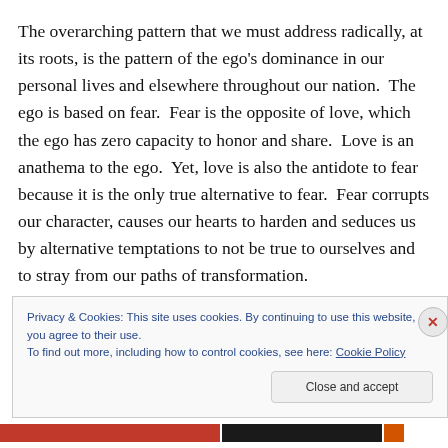The overarching pattern that we must address radically, at its roots, is the pattern of the ego's dominance in our personal lives and elsewhere throughout our nation.  The ego is based on fear.  Fear is the opposite of love, which the ego has zero capacity to honor and share.  Love is an anathema to the ego.  Yet, love is also the antidote to fear because it is the only true alternative to fear.  Fear corrupts our character, causes our hearts to harden and seduces us by alternative temptations to not be true to ourselves and to stray from our paths of transformation.
Privacy & Cookies: This site uses cookies. By continuing to use this website, you agree to their use.
To find out more, including how to control cookies, see here: Cookie Policy
Close and accept